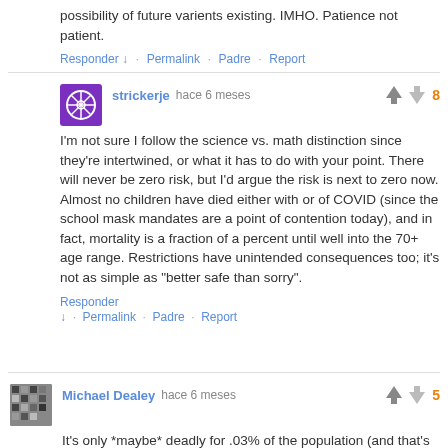possibility of future varients existing. IMHO. Patience not patient.
Responder ↓ · Permalink · Padre · Report
strickerje hace 6 meses  8
I'm not sure I follow the science vs. math distinction since they're intertwined, or what it has to do with your point. There will never be zero risk, but I'd argue the risk is next to zero now. Almost no children have died either with or of COVID (since the school mask mandates are a point of contention today), and in fact, mortality is a fraction of a percent until well into the 70+ age range. Restrictions have unintended consequences too; it's not as simple as "better safe than sorry".
Responder ↓ · Permalink · Padre · Report
Michael Dealey hace 6 meses  5
It's only *maybe* deadly for .03% of the population (and that's without any intervention). That's a much lower